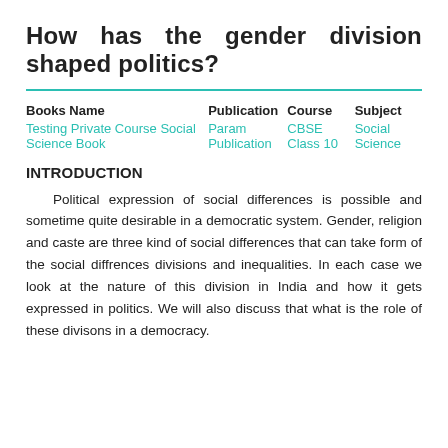How has the gender division shaped politics?
| Books Name | Publication | Course | Subject |
| --- | --- | --- | --- |
| Testing Private Course Social Science Book | Param Publication | CBSE Class 10 | Social Science |
INTRODUCTION
Political expression of social differences is possible and sometime quite desirable in a democratic system. Gender, religion and caste are three kind of social differences that can take form of the social diffrences divisions and inequalities. In each case we look at the nature of this division in India and how it gets expressed in politics. We will also discuss that what is the role of these divisons in a democracy.